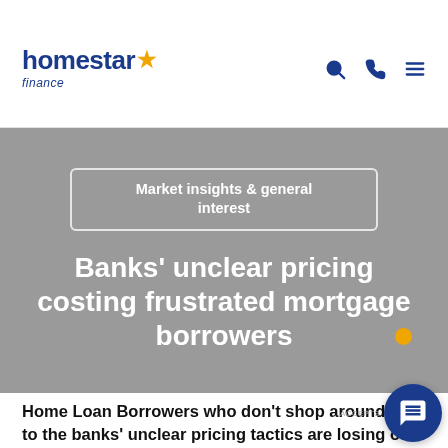homestar finance
Market insights & general interest
Banks' unclear pricing costing frustrated mortgage borrowers
Home Loan Borrowers who don't shop around due to the banks' unclear pricing tactics are losing out on an average of $1,350 per year of $300...